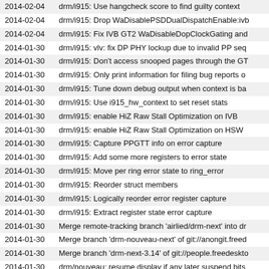2014-02-04  drm/i915: Use hangcheck score to find guilty context
2014-02-04  drm/i915: Drop WaDisablePSDDualDispatchEnable:ivb
2014-02-04  drm/i915: Fix IVB GT2 WaDisableDopClockGating and
2014-01-30  drm/i915: vlv: fix DP PHY lockup due to invalid PP seq
2014-01-30  drm/i915: Don't access snooped pages through the GT
2014-01-30  drm/i915: Only print information for filing bug reports o
2014-01-30  drm/i915: Tune down debug output when context is ba
2014-01-30  drm/i915: Use i915_hw_context to set reset stats
2014-01-30  drm/i915: enable HiZ Raw Stall Optimization on IVB
2014-01-30  drm/i915: enable HiZ Raw Stall Optimization on HSW
2014-01-30  drm/i915: Capture PPGTT info on error capture
2014-01-30  drm/i915: Add some more registers to error state
2014-01-30  drm/i915: Move per ring error state to ring_error
2014-01-30  drm/i915: Reorder struct members
2014-01-30  drm/i915: Logically reorder error register capture
2014-01-30  drm/i915: Extract register state error capture
2014-01-30  Merge remote-tracking branch 'airlied/drm-next' into dr
2014-01-30  Merge branch 'drm-nouveau-next' of git://anongit.freed
2014-01-30  Merge branch 'drm-next-3.14' of git://people.freedeskto
2014-01-30  drm/nouveau: resume display if any later suspend bits
2014-01-30  drm/nouveau: fix lock unbalance in nouveau_crtc_page
2014-01-30  drm/nouveau: implement hooks for needed for drm vbla
2014-01-30  drm/nouveau/disp: add a method to fetch info needed f
2014-01-30  drm/nv50: fill in crtc mode struct members from crtc_m
2014-01-29  drm/i915: Kerneldoc for i915_gem_evict.c
2014-01-29  drm/radeon/dce8: workaround for atom BlankCrtc table